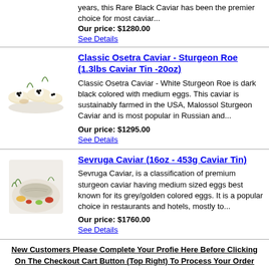years, this Rare Black Caviar has been the premier choice for most caviar...
Our price: $1280.00
See Details
Classic Osetra Caviar - Sturgeon Roe (1.3lbs Caviar Tin -20oz)
Classic Osetra Caviar - White Sturgeon Roe is dark black colored with medium eggs. This caviar is sustainably farmed in the USA, Malossol Sturgeon Caviar and is most popular in Russian and...
Our price: $1295.00
See Details
Sevruga Caviar (16oz - 453g Caviar Tin)
Sevruga Caviar, is a classification of premium sturgeon caviar having medium sized eggs best known for its grey/golden colored eggs. It is a popular choice in restaurants and hotels, mostly to...
Our price: $1760.00
See Details
New Customers Please Complete Your Profie Here Before Clicking On The Checkout Cart Button (Top Right) To Process Your Order Via Mobile Devices